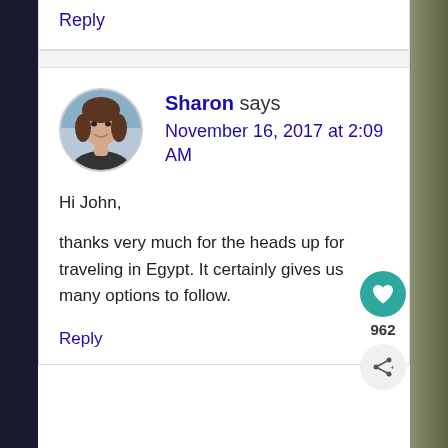Reply
Sharon says
November 16, 2017 at 2:09 AM
Hi John,

thanks very much for the heads up for traveling in Egypt. It certainly gives us many options to follow.
Reply